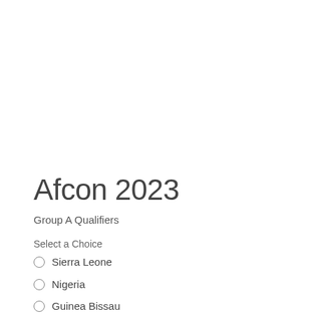Afcon 2023
Group A Qualifiers
Select a Choice
Sierra Leone
Nigeria
Guinea Bissau
Mauritius
Sao Tome & Principe